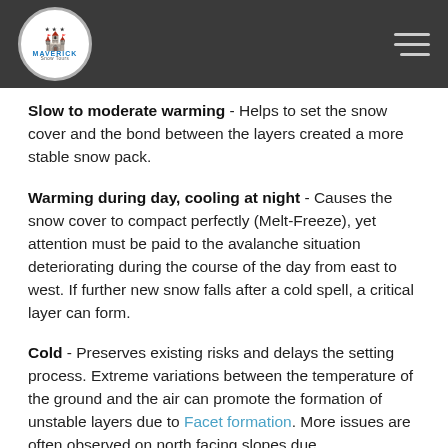Maverick Snow Tours logo and navigation
Slow to moderate warming - Helps to set the snow cover and the bond between the layers created a more stable snow pack.
Warming during day, cooling at night - Causes the snow cover to compact perfectly (Melt-Freeze), yet attention must be paid to the avalanche situation deteriorating during the course of the day from east to west. If further new snow falls after a cold spell, a critical layer can form.
Cold - Preserves existing risks and delays the setting process. Extreme variations between the temperature of the ground and the air can promote the formation of unstable layers due to Facet formation. More issues are often observed on north facing slopes due